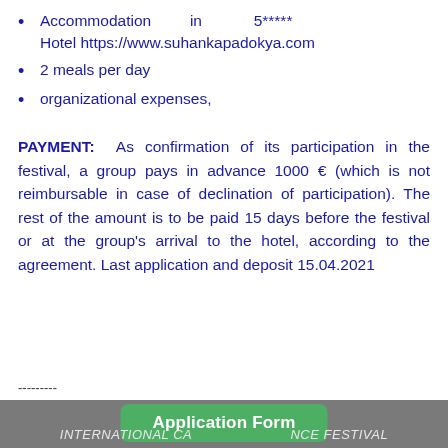Accommodation in 5***** Hotel https://www.suhankapadokya.com
2 meals per day
organizational expenses,
PAYMENT: As confirmation of its participation in the festival, a group pays in advance 1000 € (which is not reimbursable in case of declination of participation). The rest of the amount is to be paid 15 days before the festival or at the group's arrival to the hotel, according to the agreement. Last application and deposit 15.04.2021
--------- Application Form INTERNATIONAL CA... NCE FESTIVAL